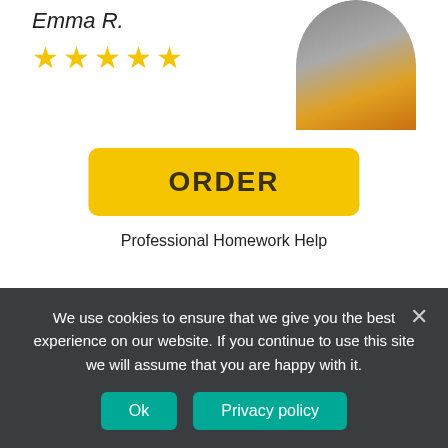Emma R.
[Figure (photo): Profile photo of a person wearing a yellow/mustard top, partially visible, circular crop]
[Figure (other): Five yellow star rating icons]
[Figure (other): Yellow ORDER button]
Professional Homework Help
Categories
We use cookies to ensure that we give you the best experience on our website. If you continue to use this site we will assume that you are happy with it.
Ok
Privacy policy